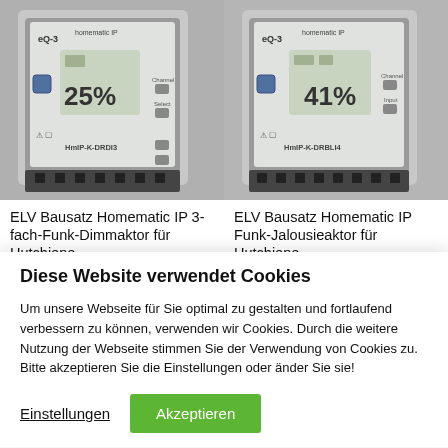[Figure (photo): Photo of ELV Bausatz Homematic IP 3-fach-Funk-Dimmaktor device (HmIP-K-DRDI3) showing a DIN-rail module with LCD display showing 25%]
[Figure (photo): Photo of ELV Bausatz Homematic IP Funk-Jalousieaktor device (HmIP-K-DRBLI4) showing a DIN-rail module with LCD display showing 41%]
ELV Bausatz Homematic IP 3-fach-Funk-Dimmaktor für Hutschiene
ELV Bausatz Homematic IP Funk-Jalousieaktor für Hutschiene
Diese Website verwendet Cookies
Um unsere Webseite für Sie optimal zu gestalten und fortlaufend verbessern zu können, verwenden wir Cookies. Durch die weitere Nutzung der Webseite stimmen Sie der Verwendung von Cookies zu. Bitte akzeptieren Sie die Einstellungen oder änder Sie sie!
Einstellungen
Akzeptieren